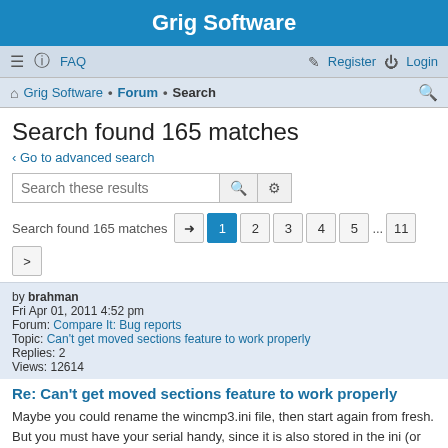Grig Software
≡  FAQ    Register   Login
Grig Software · Forum · Search
Search found 165 matches
< Go to advanced search
Search these results
Search found 165 matches   1 2 3 4 5 ... 11 >
by brahman
Fri Apr 01, 2011 4:52 pm
Forum: Compare It: Bug reports
Topic: Can't get moved sections feature to work properly
Replies: 2
Views: 12614
Re: Can't get moved sections feature to work properly
Maybe you could rename the wincmp3.ini file, then start again from fresh. But you must have your serial handy, since it is also stored in the ini (or add it back with a compare operation :)).
Jump to post >
by brahman